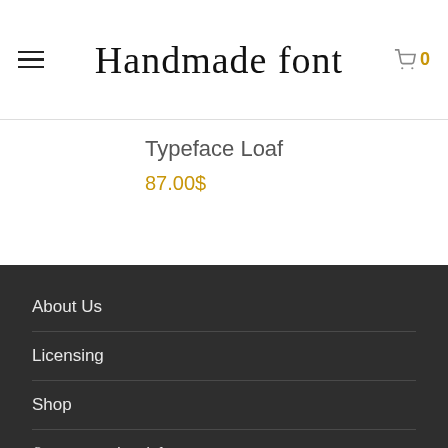Handmade font | 0
Typeface Loaf
87.00$
About Us
Licensing
Shop
© 2022 Handmadefont.com